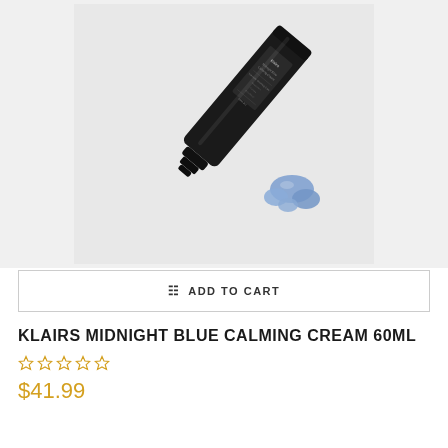[Figure (photo): Black tube of Klairs Midnight Blue Calming Cream squeezed out on a light grey surface, with blue cream visible at the nozzle tip]
ADD TO CART
KLAIRS MIDNIGHT BLUE CALMING CREAM 60ML
☆☆☆☆☆
$41.99